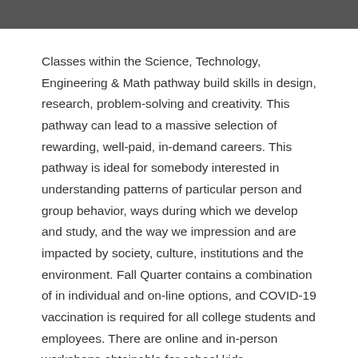Classes within the Science, Technology, Engineering & Math pathway build skills in design, research, problem-solving and creativity. This pathway can lead to a massive selection of rewarding, well-paid, in-demand careers. This pathway is ideal for somebody interested in understanding patterns of particular person and group behavior, ways during which we develop and study, and the way we impression and are impacted by society, culture, institutions and the environment. Fall Quarter contains a combination of in individual and on-line options, and COVID-19 vaccination is required for all college students and employees. There are online and in-person workshops obtainable for school kids to Students alsoright to assist for the st